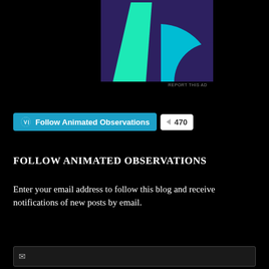[Figure (illustration): Abstract graphic with dark purple background, a green triangular shape on the left and a cyan/light blue circular arc on the right lower portion]
REPORT THIS AD
[Figure (infographic): WordPress Follow button for 'Animated Observations' in cyan/teal with WordPress logo icon, and a follower count badge showing 470]
FOLLOW ANIMATED OBSERVATIONS
Enter your email address to follow this blog and receive notifications of new posts by email.